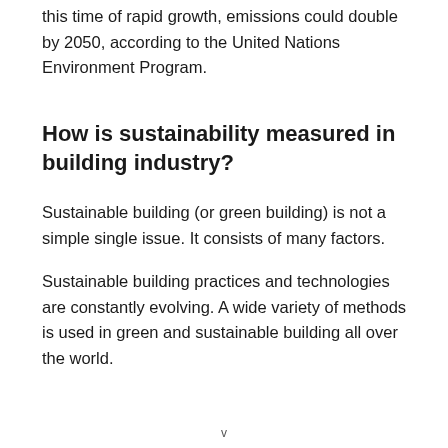this time of rapid growth, emissions could double by 2050, according to the United Nations Environment Program.
How is sustainability measured in building industry?
Sustainable building (or green building) is not a simple single issue. It consists of many factors.
Sustainable building practices and technologies are constantly evolving. A wide variety of methods is used in green and sustainable building all over the world.
v